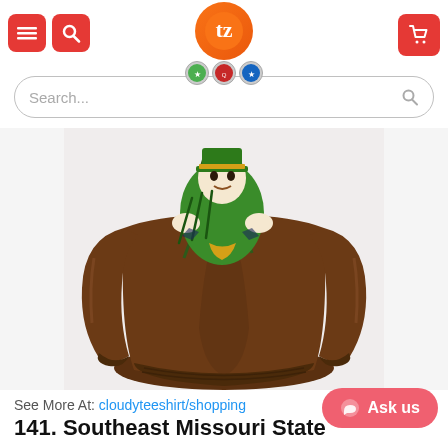Tezostores.com header with navigation icons and logo
Search...
[Figure (photo): Back view of a brown leather bomber jacket with a green Notre Dame Fighting Irish leprechaun mascot graphic tearing through the leather on the back]
See More At: cloudyteeshirt/shopping
Ask us
141. Southeast Missouri State